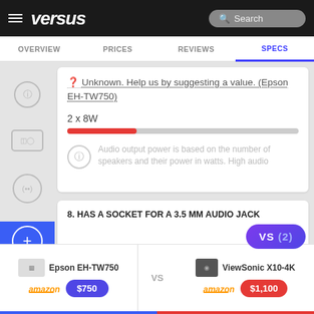versus — Search — OVERVIEW | PRICES | REVIEWS | SPECS
Unknown. Help us by suggesting a value. (Epson EH-TW750)
2 x 8W
Audio output power is based on the number of speakers and their power in watts. High audio
8. HAS A SOCKET FOR A 3.5 MM AUDIO JACK
Epson EH-TW750
Epson EH-TW750  VS  ViewSonic X10-4K  $750  $1,100